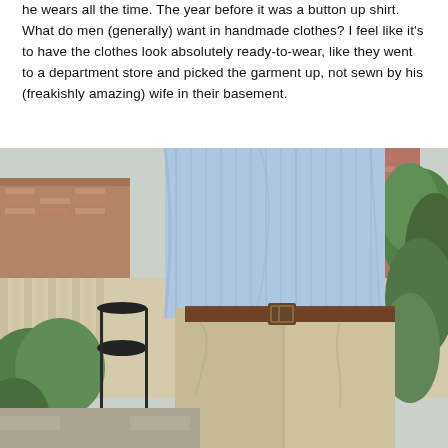he wears all the time. The year before it was a button up shirt. What do men (generally) want in handmade clothes? I feel like it's to have the clothes look absolutely ready-to-wear, like they went to a department store and picked the garment up, not sewn by his (freakishly amazing) wife in their basement.
[Figure (photo): A man wearing a light blue striped button-up shirt tucked into khaki trousers with a brown leather belt, standing outdoors in a backyard with a wooden fence, brick building, patio furniture, and green plants/bushes visible in the background.]